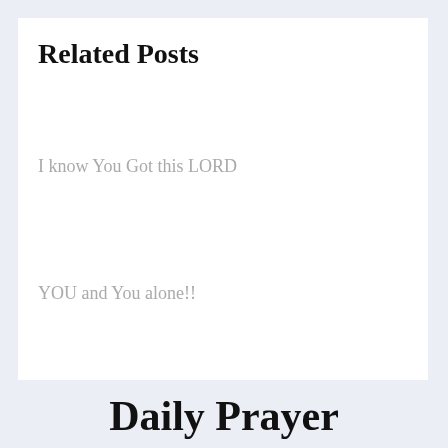Related Posts
I know You Got this LORD
YOU and You alone!!
Daily Prayer